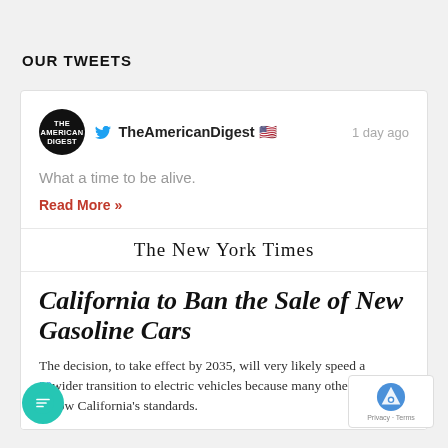OUR TWEETS
TheAmericanDigest 🇺🇸  1 day ago
What a time to be alive.
Read More »
[Figure (logo): The New York Times masthead logo in blackletter/Old English font]
California to Ban the Sale of New Gasoline Cars
The decision, to take effect by 2035, will very likely speed a wider transition to electric vehicles because many other states follow California's standards.